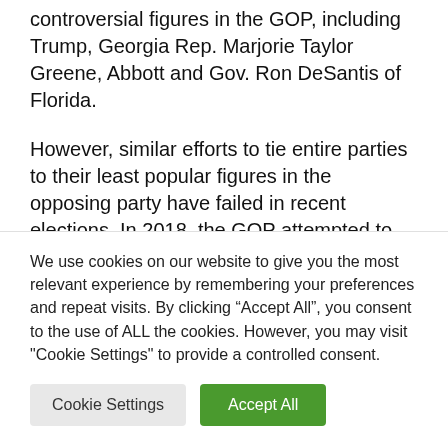controversial figures in the GOP, including Trump, Georgia Rep. Marjorie Taylor Greene, Abbott and Gov. Ron DeSantis of Florida.
However, similar efforts to tie entire parties to their least popular figures in the opposing party have failed in recent elections. In 2018, the GOP attempted to tie Democratic candidates to Nancy Pelosi — but lost control
We use cookies on our website to give you the most relevant experience by remembering your preferences and repeat visits. By clicking “Accept All”, you consent to the use of ALL the cookies. However, you may visit "Cookie Settings" to provide a controlled consent.